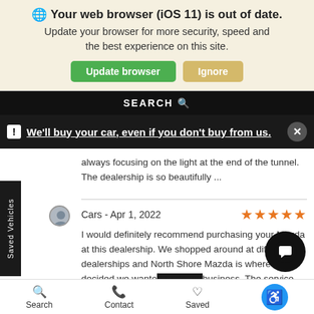🌐 Your web browser (iOS 11) is out of date. Update your browser for more security, speed and the best experience on this site. [Update browser] [Ignore]
[Figure (screenshot): Black navigation bar with SEARCH text and magnifying glass icon]
We'll buy your car, even if you don't buy from us.
always focusing on the light at the end of the tunnel. The dealership is so beautifully ...
Cars - Apr 1, 2022 ★★★★★
I would definitely recommend purchasing your Mazda at this dealership. We shopped around at different dealerships and North Shore Mazda is where we decided we wanted business. The service we received went above and our
Search  Contact  Saved